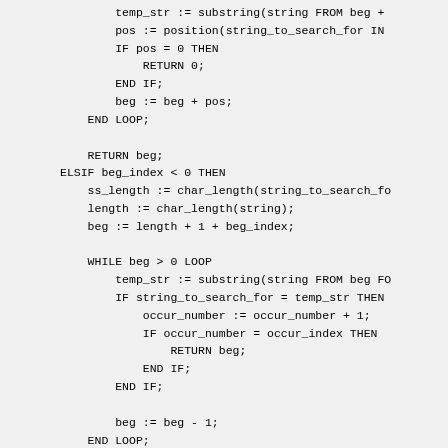[Figure (other): Code snippet showing SQL/procedural code with control flow structures including IF/ELSIF/ELSE, WHILE LOOP, RETURN statements, and string operations like substring, position, char_length]